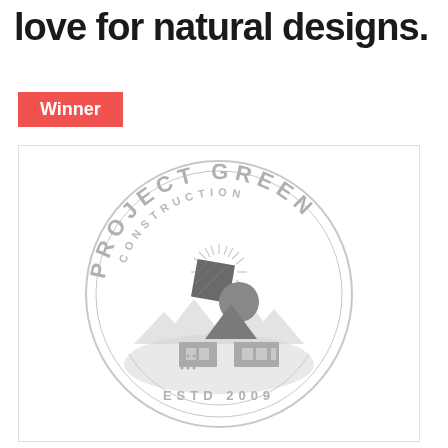love for natural designs.
Winner
[Figure (logo): Project Green Construction circular logo in light gray. Features curved text 'PROJECT GREEN' at top and 'CONSTRUCTION' below it, a central design with geometric shapes (squares, triangle, circle) and mountain/house scene, radiating sun rays, and 'ESTD 2009' at the bottom. Est. 2009.]